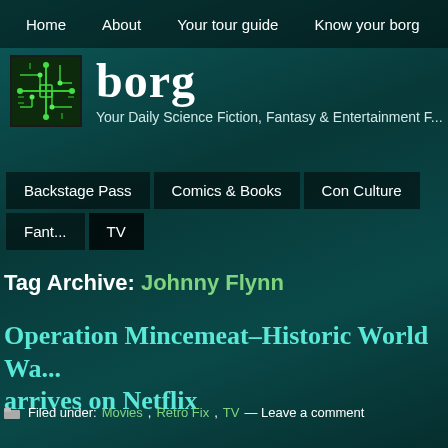Home | About | Your tour guide | Know your borg | T...
borg — Your Daily Science Fiction, Fantasy & Entertainment F...
Backstage Pass | Comics & Books | Con Culture | Fant... | TV
Tag Archive: Johnny Flynn
Operation Mincemeat–Historic World Wa... arrives on Netflix
Filed under: Movies, Retro Fix, TV — Leave a comment